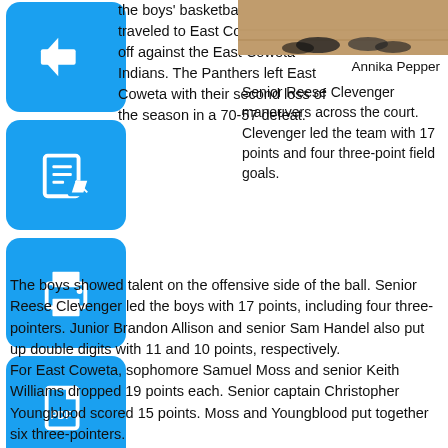the boys' basketball team traveled to East Coweta to face off against the East Coweta Indians. The Panthers left East Coweta with their second loss of the season in a 70-57 defeat.
[Figure (photo): Basketball court photo showing player feet/shoes on hardwood floor]
Annika Pepper
Senior Reese Clevenger maneuvers across the court. Clevenger led the team with 17 points and four three-point field goals.
The boys showed talent on the offensive side of the ball. Senior Reese Clevenger led the boys with 17 points, including four three-pointers. Junior Brandon Allison and senior Sam Handel also put up double digits with 11 and 10 points, respectively.
For East Coweta, sophomore Samuel Moss and senior Keith Williams dropped 19 points each. Senior captain Christopher Youngblood scored 15 points. Moss and Youngblood put together six three-pointers.
“We know we need to work on our man-to-man defense,” head coach Josh Reeves said. “We did a good job in the last couple of minutes, but as soon as about five minutes we went into man, we gave up a couple [shots] we shouldn’t have.”
Beginning in the first quarter, the defense came out aggressive. The offense, on the other hand, stalled and missed a lot of shots. East